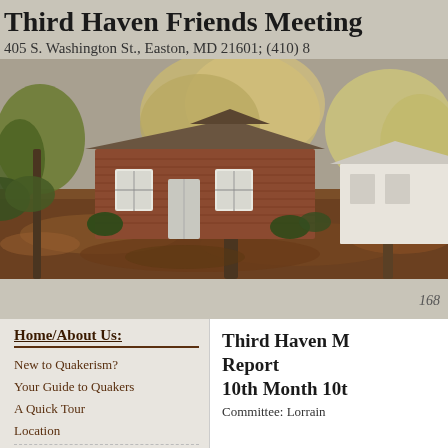Third Haven Friends Meeting
405 S. Washington St., Easton, MD 21601; (410) 8...
[Figure (photo): Photograph of Third Haven Friends Meeting brick building with trees and fallen leaves in autumn]
168...
Home/About Us:
New to Quakerism?
Your Guide to Quakers
A Quick Tour
Location
Third Haven M... Report 10th Month 10t...
Committee: Lorrain...